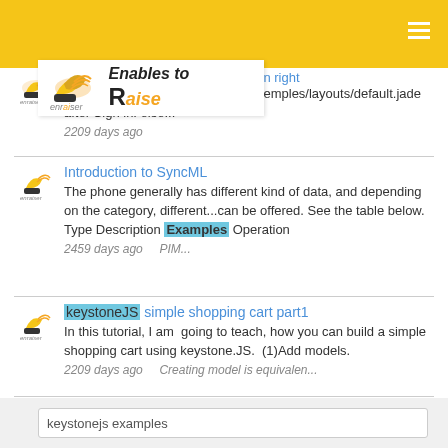[Figure (logo): Enables to Raise logo with wing/shoe icon]
ing cart part2 create a simple cart in right corner of nav bar.add this code in temples/layouts/default.jade after Sign in. else... 2209 days ago
Introduction to SyncML
The phone generally has different kind of data, and depending on the category, different...can be offered. See the table below. Type Description Examples Operation 2459 days ago     PIM...
keystoneJS simple shopping cart part1
In this tutorial, I am  going to teach, how you can build a simple shopping cart using keystone.JS.  (1)Add models. 2209 days ago     Creating model is equivalen...
keystonejs examples